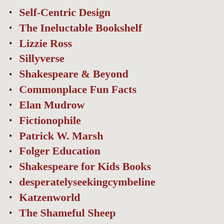Self-Centric Design
The Ineluctable Bookshelf
Lizzie Ross
Sillyverse
Shakespeare & Beyond
Commonplace Fun Facts
Elan Mudrow
Fictionophile
Patrick W. Marsh
Folger Education
Shakespeare for Kids Books
desperatelyseekingcymbeline
Katzenworld
The Shameful Sheep
The Bill / Shakespeare Project
booksandopinions.com